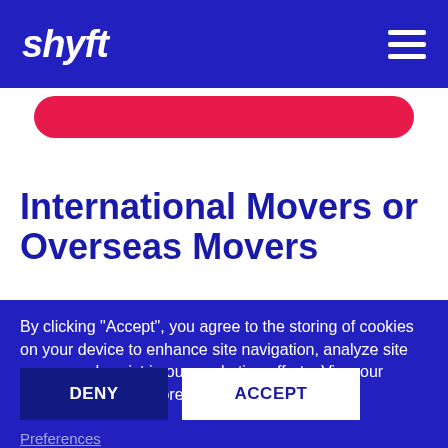shyft
[Figure (other): Pink/red rounded button partially visible]
International Movers or Overseas Movers
By clicking “Accept”, you agree to the storing of cookies on your device to enhance site navigation, analyze site usage, and assist in our marketing efforts. View our Privacy Policy for more information.
DENY
ACCEPT
Preferences